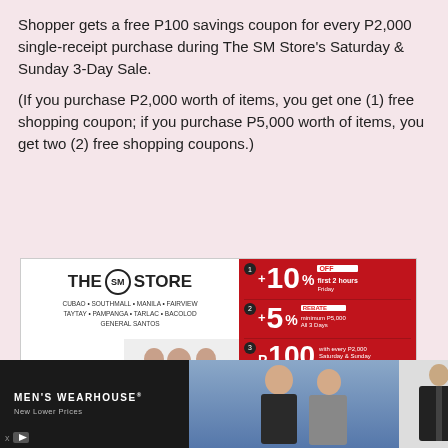Shopper gets a free P100 savings coupon for every P2,000 single-receipt purchase during The SM Store's Saturday & Sunday 3-Day Sale.
(If you purchase P2,000 worth of items, you get one (1) free shopping coupon; if you purchase P5,000 worth of items, you get two (2) free shopping coupons.)
[Figure (advertisement): The SM Store 3-Day Sale advertisement showing store locations, 3-Way Save promotion, +10% off first 2 hours Friday, +5% rebate minimum P5,000 All 3 Days, P100 takeback with every P2,000 Saturday & Sunday, and a chance to WIN an iPad]
[Figure (advertisement): Men's Wearhouse advertisement with New Lower Prices, featuring a couple in formal wear, a man in a suit, and a VIEW button]